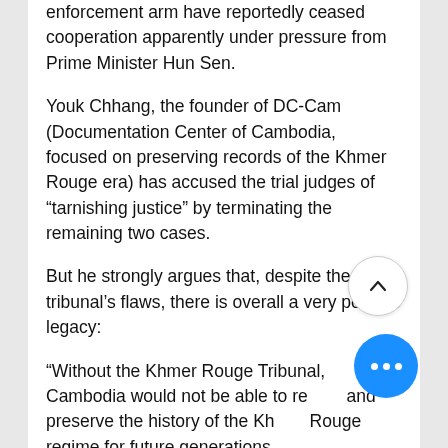enforcement arm have reportedly ceased cooperation apparently under pressure from Prime Minister Hun Sen.
Youk Chhang, the founder of DC-Cam (Documentation Center of Cambodia, focused on preserving records of the Khmer Rouge era) has accused the trial judges of “tarnishing justice” by terminating the remaining two cases.
But he strongly argues that, despite the tribunal’s flaws, there is overall a very positive legacy:
“Without the Khmer Rouge Tribunal, Cambodia would not be able to record and preserve the history of the Khmer Rouge regime for future generations